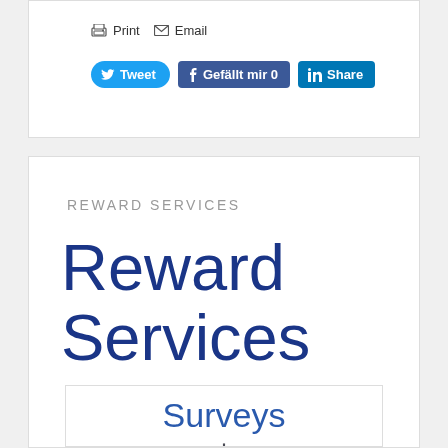[Figure (screenshot): Social sharing bar with Print, Email icons and Tweet, Gefällt mir 0, Share buttons]
REWARD SERVICES
Reward Services
[Figure (screenshot): Surveys section with clipboard icon]